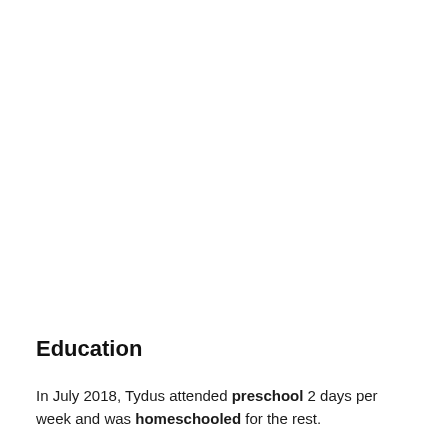Education
In July 2018, Tydus attended preschool 2 days per week and was homeschooled for the rest.